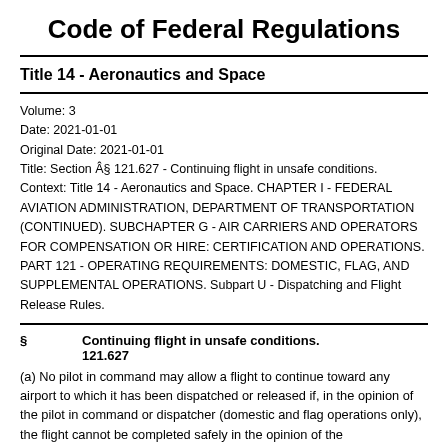Code of Federal Regulations
Title 14 - Aeronautics and Space
Volume: 3
Date: 2021-01-01
Original Date: 2021-01-01
Title: Section § 121.627 - Continuing flight in unsafe conditions.
Context: Title 14 - Aeronautics and Space. CHAPTER I - FEDERAL AVIATION ADMINISTRATION, DEPARTMENT OF TRANSPORTATION (CONTINUED). SUBCHAPTER G - AIR CARRIERS AND OPERATORS FOR COMPENSATION OR HIRE: CERTIFICATION AND OPERATIONS. PART 121 - OPERATING REQUIREMENTS: DOMESTIC, FLAG, AND SUPPLEMENTAL OPERATIONS. Subpart U - Dispatching and Flight Release Rules.
§ Continuing flight in unsafe conditions. 121.627
(a) No pilot in command may allow a flight to continue toward any airport to which it has been dispatched or released if, in the opinion of the pilot in command or dispatcher (domestic and flag operations only), the flight cannot be completed safely in the opinion of the